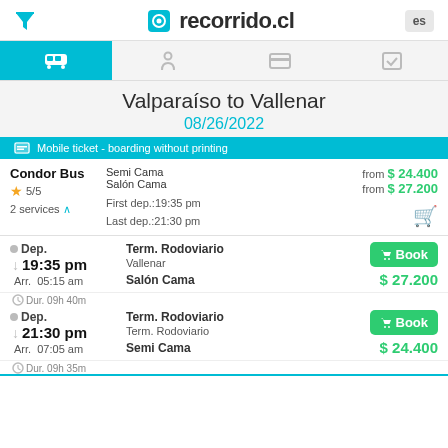recorrido.cl
Valparaíso to Vallenar
08/26/2022
Mobile ticket - boarding without printing
Condor Bus ★ 5/5 2 services | Semi Cama from $ 24.400 | Salón Cama from $ 27.200 | First dep.:19:35 pm | Last dep.:21:30 pm
Dep. 19:35 pm | Arr. 05:15 am | Dur. 09h 40m | Term. Rodoviario | Vallenar | Salón Cama | $ 27.200
Dep. 21:30 pm | Arr. 07:05 am | Dur. 09h 35m | Term. Rodoviario | Term. Rodoviario | Semi Cama | $ 24.400